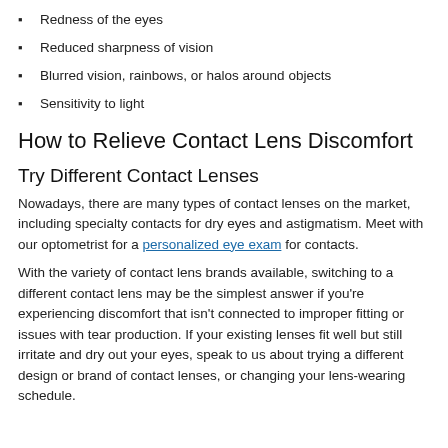Redness of the eyes
Reduced sharpness of vision
Blurred vision, rainbows, or halos around objects
Sensitivity to light
How to Relieve Contact Lens Discomfort
Try Different Contact Lenses
Nowadays, there are many types of contact lenses on the market, including specialty contacts for dry eyes and astigmatism. Meet with our optometrist for a personalized eye exam for contacts.
With the variety of contact lens brands available, switching to a different contact lens may be the simplest answer if you're experiencing discomfort that isn't connected to improper fitting or issues with tear production. If your existing lenses fit well but still irritate and dry out your eyes, speak to us about trying a different design or brand of contact lenses, or changing your lens-wearing schedule.